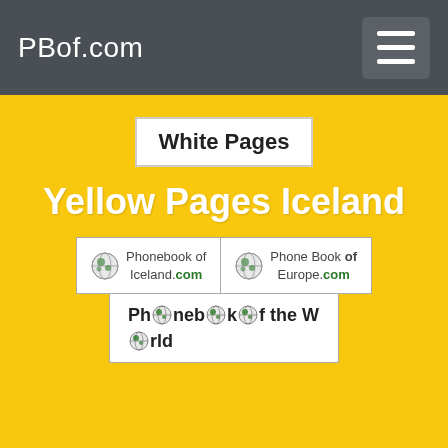PBof.com
White Pages
Yellow Pages Iceland
[Figure (logo): Phonebook of Iceland.com logo with globe icon]
[Figure (logo): Phone Book of Europe.com logo with globe icon]
[Figure (logo): Phonebook of the World logo with globe icons replacing letters o]